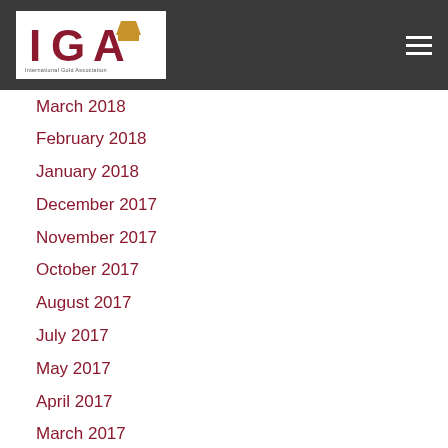IGA — International Gold Association
March 2018
February 2018
January 2018
December 2017
November 2017
October 2017
August 2017
July 2017
May 2017
April 2017
March 2017
February 2017
January 2017
December 2016
November 2016
September 2016
July 2016